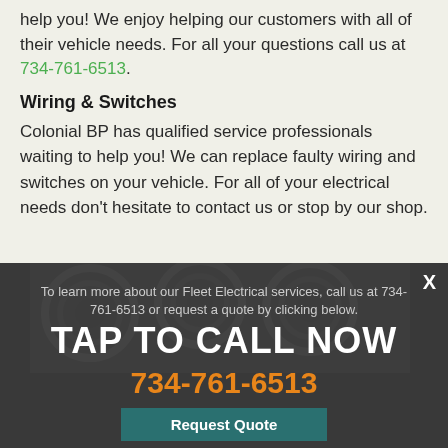help you! We enjoy helping our customers with all of their vehicle needs. For all your questions call us at 734-761-6513.
Wiring & Switches
Colonial BP has qualified service professionals waiting to help you! We can replace faulty wiring and switches on your vehicle. For all of your electrical needs don't hesitate to contact us or stop by our shop.
[Figure (photo): Dark overlay panel with call-to-action. Shows mechanical/engine parts in background. Contains TAP TO CALL NOW banner, phone number 734-761-6513, fleet electrical services text, and Request Quote button. Also shows an X close button.]